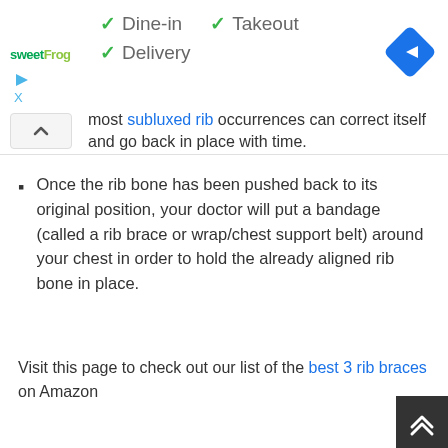[Figure (screenshot): Ad banner for sweetFrog restaurant showing Dine-in, Takeout, Delivery checkmarks and a navigation icon]
most subluxed rib occurrences can correct itself and go back in place with time.
Once the rib bone has been pushed back to its original position, your doctor will put a bandage (called a rib brace or wrap/chest support belt) around your chest in order to hold the already aligned rib bone in place.
Visit this page to check out our list of the best 3 rib braces on Amazon